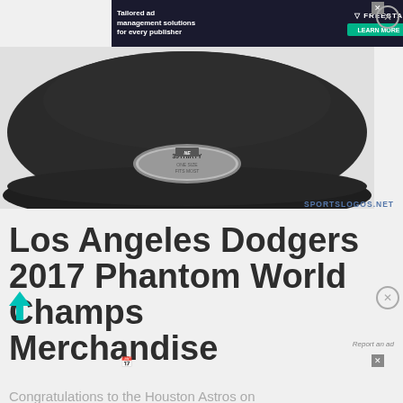[Figure (photo): Advertisement banner at top: dark background with 'Tailored ad management solutions for every publisher' text, FREESTAR logo and green LEARN MORE button, with close X button]
[Figure (photo): Dark gray New Era 39THIRTY baseball cap shown from below, with metallic logo badge reading '39THIRTY ONE SIZE FITS MOST', against light gray background with SPORTSLOGOS.NET watermark]
Los Angeles Dodgers 2017 Phantom World Champs Merchandise
[Figure (photo): Second advertisement banner: dark background with 'Tailored ad management solutions for every publisher' text, FREESTAR logo and green LEARN MORE button]
Congratulations to the Houston Astros on